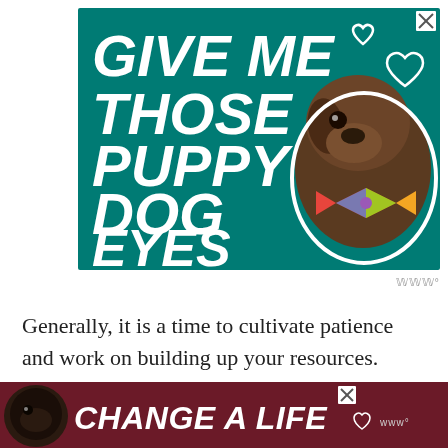[Figure (illustration): Advertisement banner with teal background showing a dog with a bow tie and text 'GIVE ME THOSE PUPPY DOG EYES' in bold white italic lettering with heart graphics]
Generally, it is a time to cultivate patience and work on building up your resources. Later in the da[y] ... [leaisure.] th[e] ... oil and
[Figure (illustration): Bottom advertisement banner with dark red/maroon background showing a black dog and text 'CHANGE A LIFE' in bold white italic lettering]